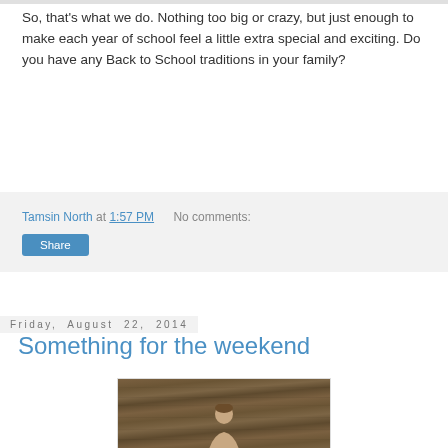So, that's what we do. Nothing too big or crazy, but just enough to make each year of school feel a little extra special and exciting. Do you have any Back to School traditions in your family?
Tamsin North at 1:57 PM   No comments:
Share
Friday, August 22, 2014
Something for the weekend
[Figure (photo): Photo of a child against a wooden plank background, partially visible at bottom of page]